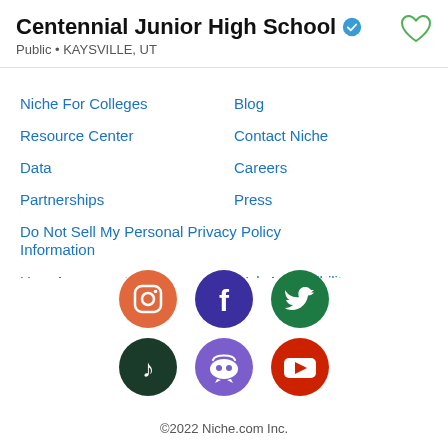Centennial Junior High School
Public • KAYSVILLE, UT
Niche For Colleges
Blog
Resource Center
Contact Niche
Data
Careers
Partnerships
Press
Do Not Sell My Personal Information
Privacy Policy
User Agreement
Web Accessibility
Cookie Policy
Sitemap
[Figure (logo): Social media icons: Instagram (orange), Facebook (purple), Twitter (green), TikTok (dark green), Discord (purple), YouTube (red/white)]
©2022 Niche.com Inc.